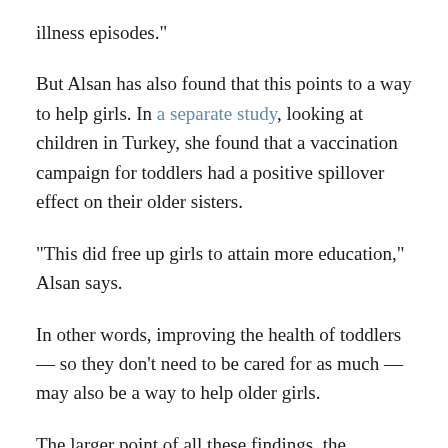illness episodes."
But Alsan has also found that this points to a way to help girls. In a separate study, looking at children in Turkey, she found that a vaccination campaign for toddlers had a positive spillover effect on their older sisters.
"This did free up girls to attain more education," Alsan says.
In other words, improving the health of toddlers — so they don't need to be cared for as much — may also be a way to help older girls.
The larger point of all these findings, the researchers say, is that policymakers need to be a lot more mindful about the potential negative effects of this unacknowledged work that so many older girls in poorer countries are doing. And to